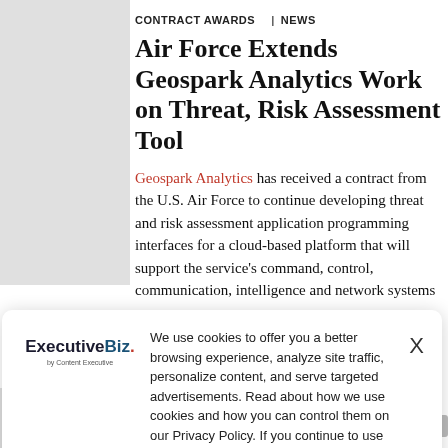[Figure (photo): Gray placeholder image on the left side of the article]
CONTRACT AWARDS   NEWS
Air Force Extends Geospark Analytics Work on Threat, Risk Assessment Tool
Geospark Analytics has received a contract from the U.S. Air Force to continue developing threat and risk assessment application programming interfaces for a cloud-based platform that will support the service's command, control, communication, intelligence and network systems
We use cookies to offer you a better browsing experience, analyze site traffic, personalize content, and serve targeted advertisements. Read about how we use cookies and how you can control them on our Privacy Policy. If you continue to use this site, you consent to our use of cookies.
GeoSpark Analytics to Study